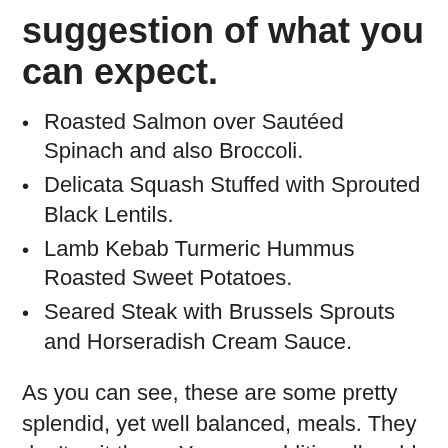suggestion of what you can expect.
Roasted Salmon over Sautéed Spinach and also Broccoli.
Delicata Squash Stuffed with Sprouted Black Lentils.
Lamb Kebab Turmeric Hummus Roasted Sweet Potatoes.
Seared Steak with Brussels Sprouts and Horseradish Cream Sauce.
As you can see, these are some pretty splendid, yet well balanced, meals. They don't quit there. You can additionally add appetizers, snacks, morning meal, kitchen items, and also even drinks to your box. This essentially covers all your food requires for